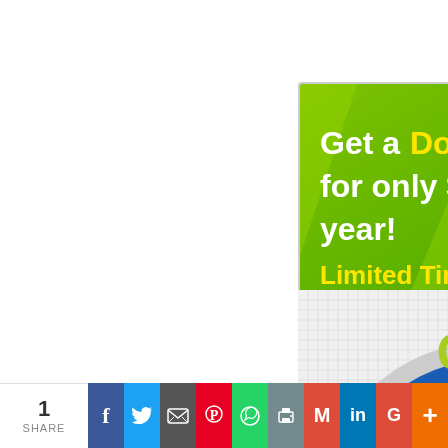[Figure (advertisement): Register.com advertisement banner. Green background with diagonal light rays. White text: 'Get a Domain for only $5 a year!' Yellow text: 'Limited Time!' Stopwatch/timer graphic on right side. Bottom white section with green 'register.com' text and orange 'Find It' button.]
[Figure (advertisement): Partial advertisement showing a blue circle with green/yellow bold text reading 'GET FREE' on a grid/graph paper background. The circle is cropped at the bottom.]
1 SHARE  f  [Twitter]  [Email]  [Pinterest]  [WhatsApp]  [Print]  M  in  G  +